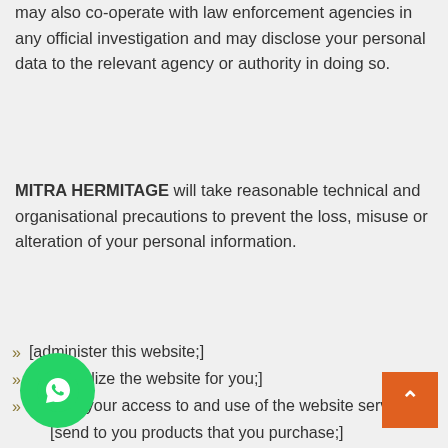may also co-operate with law enforcement agencies in any official investigation and may disclose your personal data to the relevant agency or authority in doing so.
MITRA HERMITAGE will take reasonable technical and organisational precautions to prevent the loss, misuse or alteration of your personal information.
[administer this website;]
[personalize the website for you;]
[enable your access to and use of the website services;]
[send to you products that you purchase;]
[supply to you services that you purchase;]